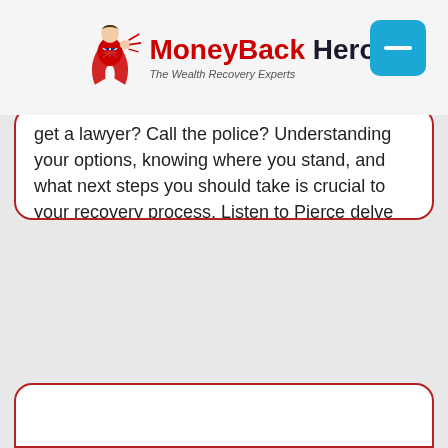[Figure (logo): MoneyBack Hero logo with superhero figure, red and dark blue text, tagline 'The Wealth Recovery Experts']
get a lawyer? Call the police? Understanding your options, knowing where you stand, and what next steps you should take is crucial to your recovery process. Listen to Pierce delve into the subject: Click Here to listen to our podcast on the subject